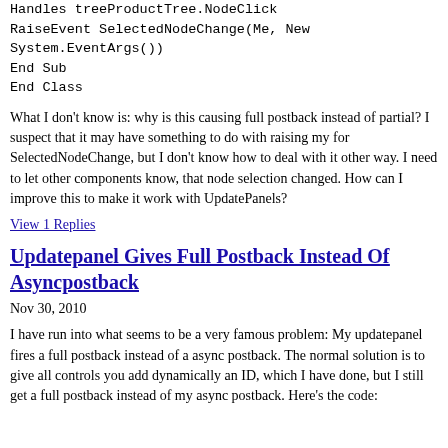Handles treeProductTree.NodeClick
RaiseEvent SelectedNodeChange(Me, New System.EventArgs())
End Sub
End Class
What I don't know is: why is this causing full postback instead of partial? I suspect that it may have something to do with raising my for SelectedNodeChange, but I don't know how to deal with it other way. I need to let other components know, that node selection changed. How can I improve this to make it work with UpdatePanels?
View 1 Replies
Updatepanel Gives Full Postback Instead Of Asyncpostback
Nov 30, 2010
I have run into what seems to be a very famous problem: My updatepanel fires a full postback instead of a async postback. The normal solution is to give all controls you add dynamically an ID, which I have done, but I still get a full postback instead of my async postback. Here's the code: